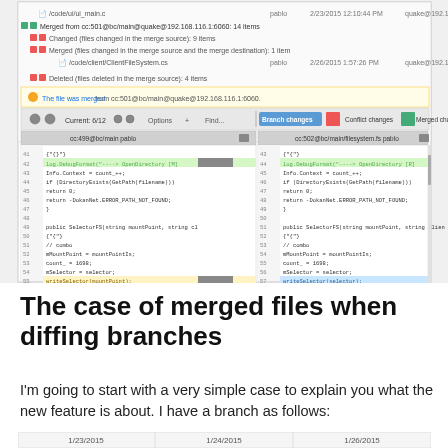[Figure (screenshot): Screenshot of a version control diff tool showing merged files comparison between two branches, with code editor panels showing C# source code differences highlighted in green, yellow, and gray.]
The case of merged files when diffing branches
I'm going to start with a very simple case to explain you what the new feature is about. I have a branch as follows:
[Figure (screenshot): Partial screenshot showing a timeline/branch view with dates 1/23/2015, 1/24/2015, 1/26/2015]